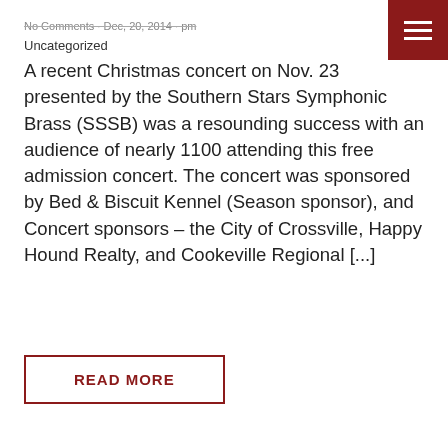No Comments · Dec, 20, 2014, pm · Uncategorized
A recent Christmas concert on Nov. 23 presented by the Southern Stars Symphonic Brass (SSSB) was a resounding success with an audience of nearly 1100 attending this free admission concert. The concert was sponsored by Bed & Biscuit Kennel (Season sponsor), and Concert sponsors – the City of Crossville, Happy Hound Realty, and Cookeville Regional [...]
READ MORE